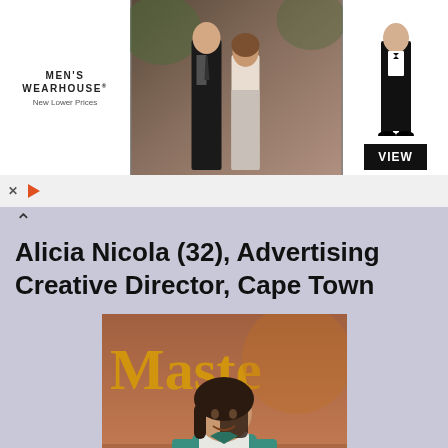[Figure (photo): Men's Wearhouse advertisement banner showing a couple in formalwear on the left/center and a male figure in a tuxedo on the right with a VIEW button]
Alicia Nicola (32), Advertising Creative Director, Cape Town
[Figure (photo): Photo of Alicia Nicola standing in front of a MasterChef sign, wearing a teal/green shirt with a white MasterChef apron labeled 'Alicia']